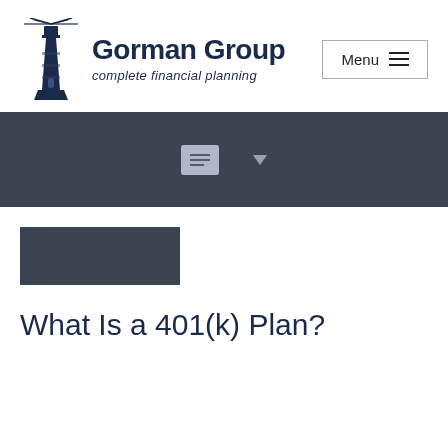[Figure (logo): Gorman Group lighthouse logo with text 'Gorman Group' and tagline 'complete financial planning']
[Figure (screenshot): Navigation bar with dark gray background, breadcrumb icon, and dropdown arrow]
[Figure (other): Dark gray category tag/label block]
What Is a 401(k) Plan?